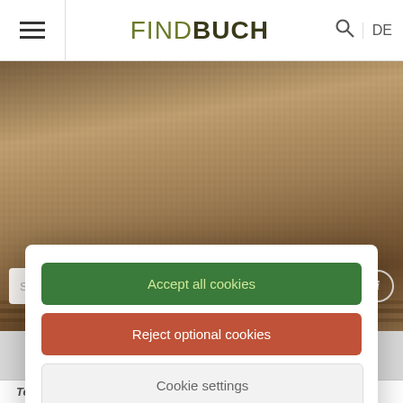FIND BUCH
[Figure (photo): Sepia-toned historical photograph showing people lying on wooden planks or deck chairs]
Search database
» Search
Accept all cookies
Reject optional cookies
Cookie settings
Our website uses necessary functional as well as optional cookies. Data protection notice
Terms of reference